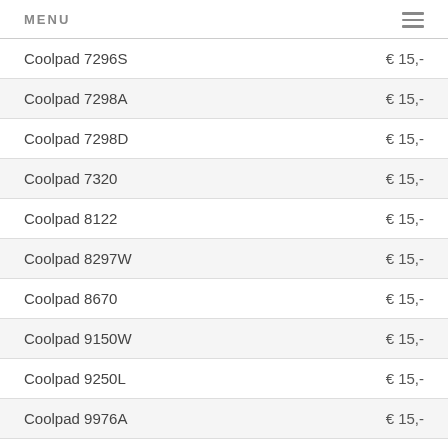MENU
Coolpad 7296S  € 15,-
Coolpad 7298A  € 15,-
Coolpad 7298D  € 15,-
Coolpad 7320  € 15,-
Coolpad 8122  € 15,-
Coolpad 8297W  € 15,-
Coolpad 8670  € 15,-
Coolpad 9150W  € 15,-
Coolpad 9250L  € 15,-
Coolpad 9976A  € 15,-
Coolpad Karbonn Titanium S5 Plus  € 15,-